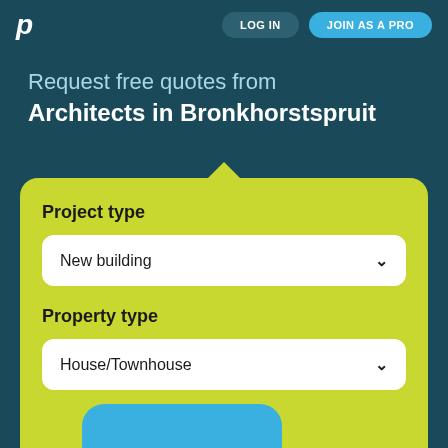p | LOG IN  JOIN AS A PRO
Request free quotes from Architects in Bronkhorstspruit
Project type
New building
Property type
House/Townhouse